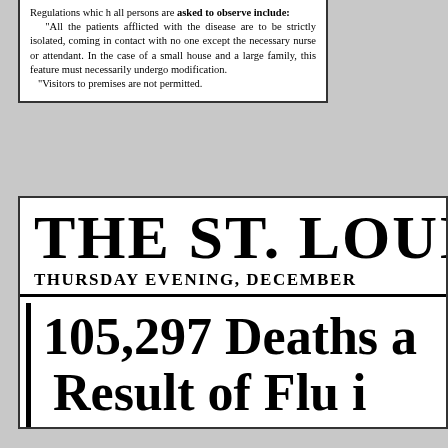Regulations which all persons are asked to observe include: "All the patients afflicted with the disease are to be strictly isolated, coming in contact with no one except the necessary nurse or attendant. In the case of a small house and a large family, this feature must necessarily undergo modification. "Visitors to premises are not permitted.
THE ST. LOUIS STA
THURSDAY EVENING, DECEMBER
105,297 Deaths a Result of Flu i